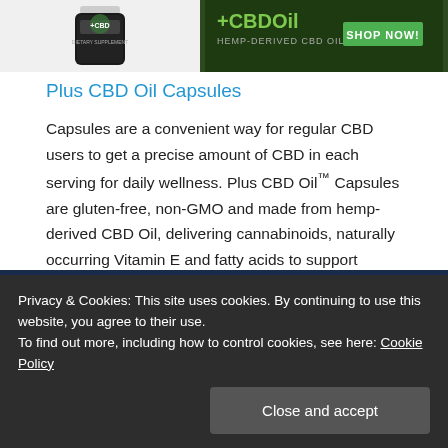[Figure (photo): Product image of a CBD supplement bottle on white background, left side]
[Figure (photo): Advertisement banner for CBD Oil with dark green background, 'CBDOil Hemp-Derived CBD Oil' text and 'SHOP NOW!' green button]
Plus CBD Oil Capsules
Capsules are a convenient way for regular CBD users to get a precise amount of CBD in each serving for daily wellness. Plus CBD Oil™ Capsules are gluten-free, non-GMO and made from hemp-derived CBD Oil, delivering cannabinoids, naturally occurring Vitamin E and fatty acids to support balance in both body and mind.
[Figure (screenshot): Dark blue/navy bottom banner area]
Privacy & Cookies: This site uses cookies. By continuing to use this website, you agree to their use.
To find out more, including how to control cookies, see here: Cookie Policy
Close and accept